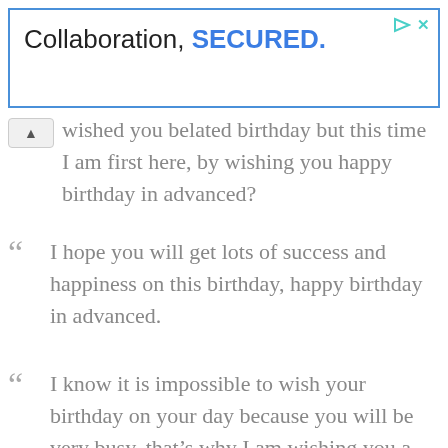[Figure (screenshot): Advertisement banner with blue border. Text reads 'Collaboration, SECURED.' where SECURED is in bold blue. Top-right has play and close icons in teal/blue.]
wished you belated birthday but this time I am first here, by wishing you happy birthday in advanced?
“ I hope you will get lots of success and happiness on this birthday, happy birthday in advanced.
“ I know it is impossible to wish your birthday on your day because you will be very busy, that’s why I am wishing you a very good happy